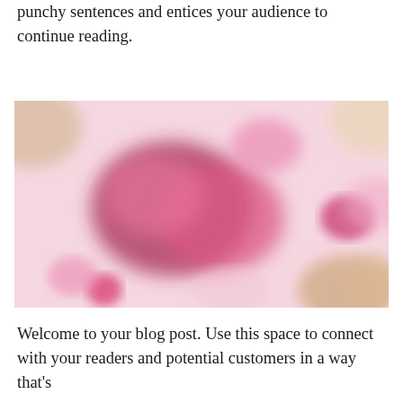punchy sentences and entices your audience to continue reading.
[Figure (photo): Blurred overhead photo of pink and magenta floral or food items on a pink/light background, with some beige/tan elements at the edges.]
Welcome to your blog post. Use this space to connect with your readers and potential customers in a way that's